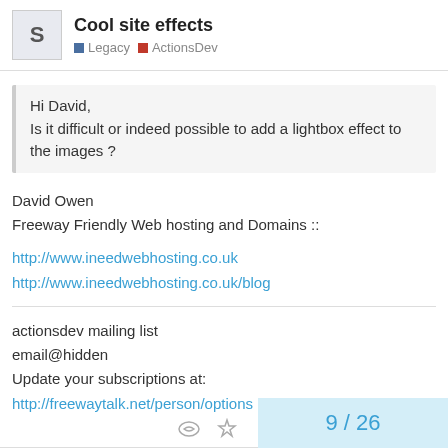Cool site effects
Legacy  ActionsDev
Hi David,
Is it difficult or indeed possible to add a lightbox effect to the images ?
David Owen
Freeway Friendly Web hosting and Domains ::
http://www.ineedwebhosting.co.uk
http://www.ineedwebhosting.co.uk/blog
actionsdev mailing list
email@hidden
Update your subscriptions at:
http://freewaytalk.net/person/options
9 / 26